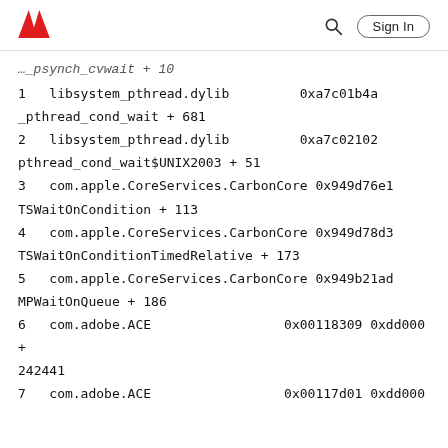Adobe logo, Search, Sign In
__psynch_cvwait + 10
1   libsystem_pthread.dylib        0xa7c01b4a
_pthread_cond_wait + 681
2   libsystem_pthread.dylib        0xa7c02102
pthread_cond_wait$UNIX2003 + 51
3   com.apple.CoreServices.CarbonCore 0x949d76e1
TSWaitOnCondition + 113
4   com.apple.CoreServices.CarbonCore 0x949d78d3
TSWaitOnConditionTimedRelative + 173
5   com.apple.CoreServices.CarbonCore 0x949b21ad
MPWaitOnQueue + 186
6   com.adobe.ACE                    0x00118309 0xdd000 +
242441
7   com.adobe.ACE                    0x00117d01 0xdd000